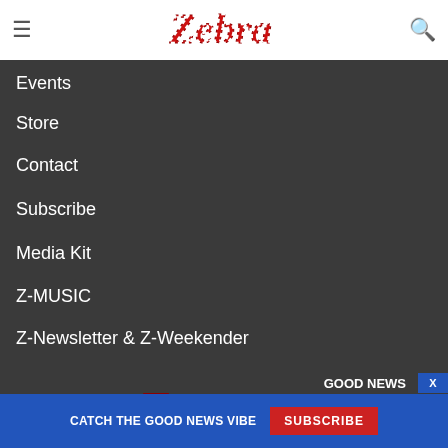Zebra - navigation menu open
Store
Contact
Subscribe
Media Kit
Z-MUSIC
Z-Newsletter & Z-Weekender
[Figure (logo): Zebra logo in large zebra-striped red and white lettering with black outline]
GOOD NEWS
IN ALEXANDRIA,
CATCH THE GOOD NEWS VIBE  SUBSCRIBE